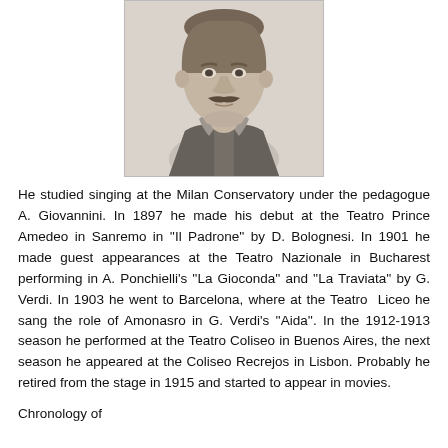[Figure (photo): Black and white portrait photograph of a man with a mustache wearing a suit and decorative cravat/bow tie]
He studied singing at the Milan Conservatory under the pedagogue A. Giovannini. In 1897 he made his debut at the Teatro Prince Amedeo in Sanremo in "Il Padrone" by D. Bolognesi. In 1901 he made guest appearances at the Teatro Nazionale in Bucharest performing in A. Ponchielli's "La Gioconda" and "La Traviata" by G. Verdi. In 1903 he went to Barcelona, where at the Teatro Liceo he sang the role of Amonasro in G. Verdi's "Aida". In the 1912-1913 season he performed at the Teatro Coliseo in Buenos Aires, the next season he appeared at the Coliseo Recrejos in Lisbon. Probably he retired from the stage in 1915 and started to appear in movies.
Chronology of